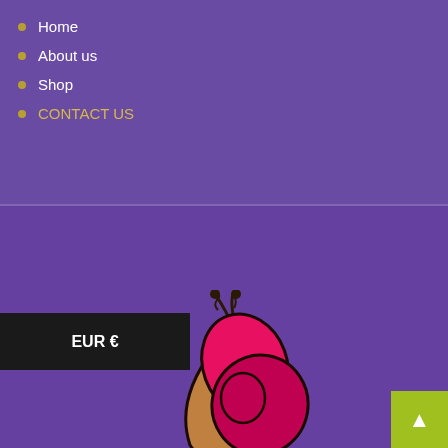Home
About us
Shop
CONTACT US
USD $
EUR €
[Figure (illustration): A cartoon butterfly/snail creature illustration with pink wings, brown body/shell, and black antennae, on a purple background]
▲